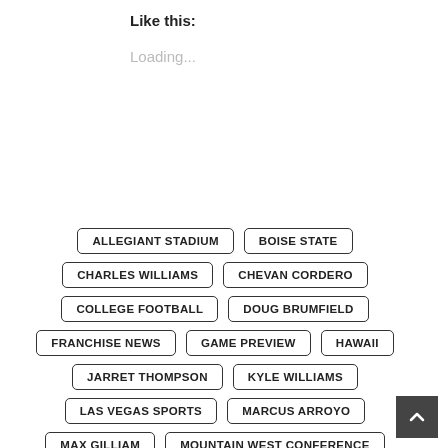Like this:
Loading...
ALLEGIANT STADIUM
BOISE STATE
CHARLES WILLIAMS
CHEVAN CORDERO
COLLEGE FOOTBALL
DOUG BRUMFIELD
FRANCHISE NEWS
GAME PREVIEW
HAWAII
JARRET THOMPSON
KYLE WILLIAMS
LAS VEGAS SPORTS
MARCUS ARROYO
MAX GILLIAM
MOUNTAIN WEST CONFERENCE
NCAA FOOTBALL
PREVIEW
RAINBOW WARRIORS